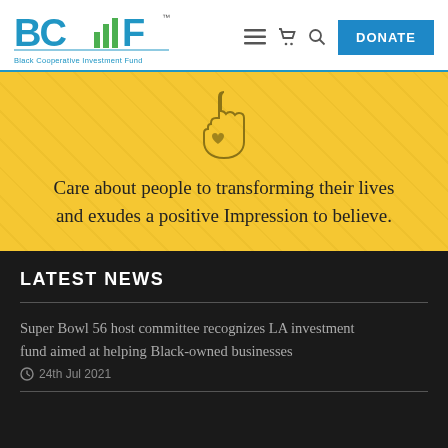BCIF - Black Cooperative Investment Fund
[Figure (illustration): Hand with heart icon on yellow background with diagonal pattern]
Care about people to transforming their lives and exudes a positive Impression to believe.
LATEST NEWS
Super Bowl 56 host committee recognizes LA investment fund aimed at helping Black-owned businesses
24th Jul 2021